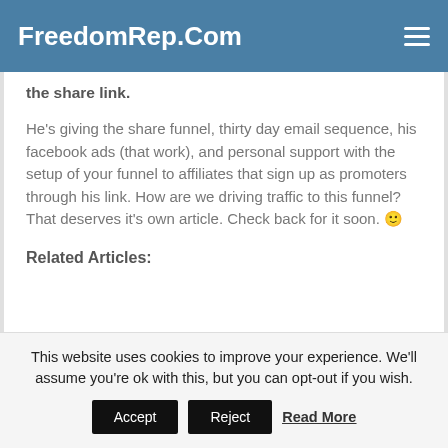FreedomRep.Com
the share link.
He's giving the share funnel, thirty day email sequence, his facebook ads (that work), and personal support with the setup of your funnel to affiliates that sign up as promoters through his link. How are we driving traffic to this funnel?  That deserves it's own article. Check back for it soon. 🙂
Related Articles:
This website uses cookies to improve your experience. We'll assume you're ok with this, but you can opt-out if you wish. Accept Reject Read More